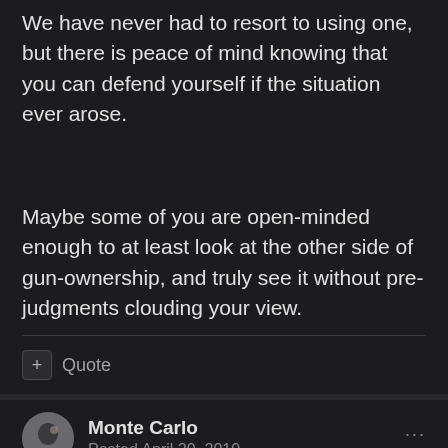We have never had to resort to using one, but there is peace of mind knowing that you can defend yourself if the situation ever arose.
Maybe some of you are open-minded enough to at least look at the other side of gun-ownership, and truly see it without pre-judgments clouding your view.
+ Quote
Monte Carlo
Posted April 20, 2010
^ Calm down, most people on this thread have been